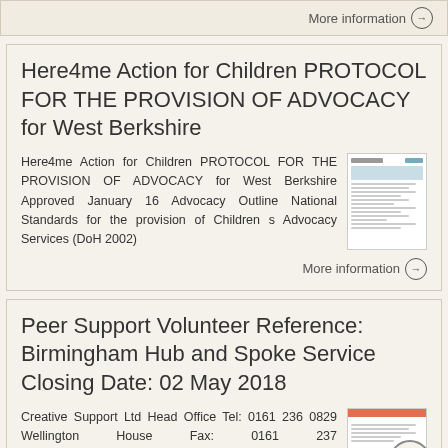More information →
Here4me Action for Children PROTOCOL FOR THE PROVISION OF ADVOCACY for West Berkshire
Here4me Action for Children PROTOCOL FOR THE PROVISION OF ADVOCACY for West Berkshire Approved January 16 Advocacy Outline National Standards for the provision of Children s Advocacy Services (DoH 2002)
More information →
Peer Support Volunteer Reference: Birmingham Hub and Spoke Service Closing Date: 02 May 2018
Creative Support Ltd Head Office Tel: 0161 236 0829 Wellington House Fax: 0161 237 5126 Stockport